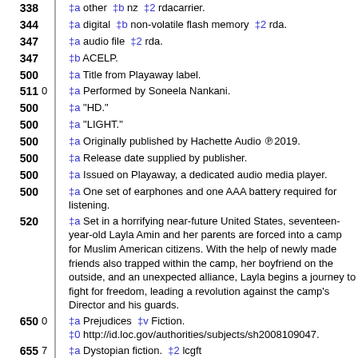| Tag | Ind |  | Data |
| --- | --- | --- | --- |
| 338 |  |  | ‡a other ‡b nz ‡2 rdacarrier. |
| 344 |  |  | ‡a digital ‡b non-volatile flash memory ‡2 rda. |
| 347 |  |  | ‡a audio file ‡2 rda. |
| 347 |  |  | ‡b ACELP. |
| 500 |  |  | ‡a Title from Playaway label. |
| 511 | 0 |  | ‡a Performed by Soneela Nankani. |
| 500 |  |  | ‡a "HD." |
| 500 |  |  | ‡a "LIGHT." |
| 500 |  |  | ‡a Originally published by Hachette Audio ℗2019. |
| 500 |  |  | ‡a Release date supplied by publisher. |
| 500 |  |  | ‡a Issued on Playaway, a dedicated audio media player. |
| 500 |  |  | ‡a One set of earphones and one AAA battery required for listening. |
| 520 |  |  | ‡a Set in a horrifying near-future United States, seventeen-year-old Layla Amin and her parents are forced into a camp for Muslim American citizens. With the help of newly made friends also trapped within the camp, her boyfriend on the outside, and an unexpected alliance, Layla begins a journey to fight for freedom, leading a revolution against the camp's Director and his guards. |
| 650 | 0 |  | ‡a Prejudices ‡v Fiction.
‡0 http://id.loc.gov/authorities/subjects/sh2008109047. |
| 655 | 7 |  | ‡a Dystopian fiction. ‡2 lcgft
‡0 http://id.loc.gov/authorities/genreForms/gf2014026302. |
|  |  |  | ‡a Muslims ‡z United States |